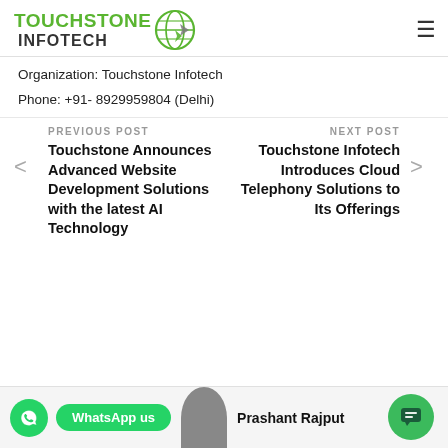[Figure (logo): Touchstone Infotech logo with globe icon]
Organization: Touchstone Infotech
Phone: +91- 8929959804 (Delhi)
PREVIOUS POST
Touchstone Announces Advanced Website Development Solutions with the latest AI Technology
NEXT POST
Touchstone Infotech Introduces Cloud Telephony Solutions to Its Offerings
WhatsApp us
Prashant Rajput